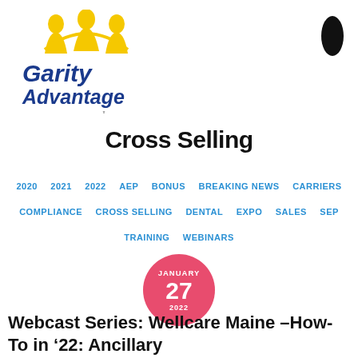[Figure (logo): Garity Advantage - An Integrity Company logo with yellow figures and blue text]
Cross Selling
2020  2021  2022  AEP  BONUS  BREAKING NEWS  CARRIERS  COMPLIANCE  CROSS SELLING  DENTAL  EXPO  SALES  SEP  TRAINING  WEBINARS
[Figure (infographic): Pink circular date badge showing JANUARY 27 2022]
Webcast Series: Wellcare Maine – How-To in '22: Ancillary